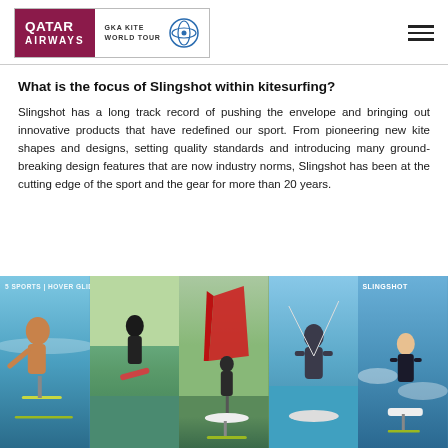[Figure (logo): Qatar Airways GKA Kite World Tour logo with hamburger menu icon]
What is the focus of Slingshot within kitesurfing?
Slingshot has a long track record of pushing the envelope and bringing out innovative products that have redefined our sport. From pioneering new kite shapes and designs, setting quality standards and introducing many ground-breaking design features that are now industry norms, Slingshot has been at the cutting edge of the sport and the gear for more than 20 years.
[Figure (photo): Five panel image strip showing various kitesurfing and foil sports: woman using hydrofoil underwater, person doing trick on kiteboard, person using wing foil with red sail, man kiting on water, young person on foilboard in waves. Labels: '5 SPORTS | HOVER GLIDE' and 'SLINGSHOT']